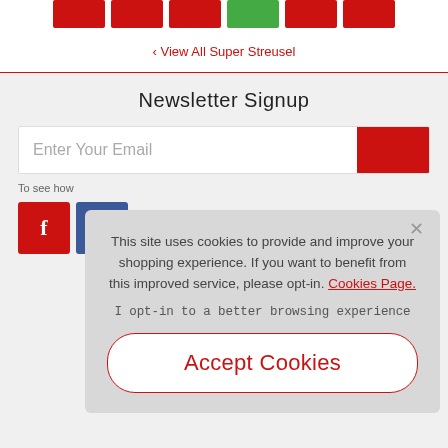[Figure (screenshot): Row of red rectangular buttons at the top of the page]
‹ View All Super Streusel
Newsletter Signup
Enter Your Email
To see how
[Figure (screenshot): Facebook social icon button (red) and another social button (blue)]
This site uses cookies to provide and improve your shopping experience. If you want to benefit from this improved service, please opt-in. Cookies Page.
I opt-in to a better browsing experience
Accept Cookies